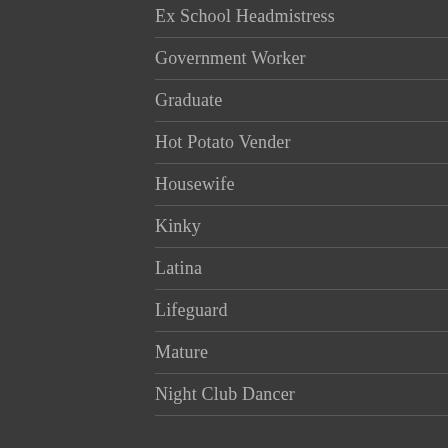Ex School Headmistress
Government Worker
Graduate
Hot Potato Vender
Housewife
Kinky
Latina
Lifeguard
Mature
Night Club Dancer